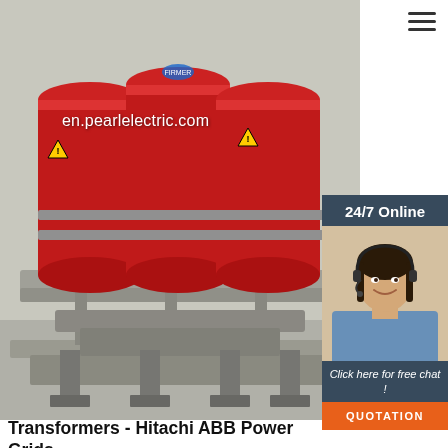[Figure (photo): Red dry-type transformers (3 cylindrical red cores) mounted on gray metal frame/base. URL watermark 'en.pearlelectric.com' overlaid on image.]
en.pearlelectric.com
[Figure (photo): 24/7 Online customer service panel with photo of smiling woman with headset, dark navy background, 'Click here for free chat!' text and orange QUOTATION button]
Transformers - Hitachi ABB Power Grids
2 days agou2002·u2002Transformers. Hitachi ABB Power Grids is global leader in transformers, offering liquid-filled and dry-type transformers as well as services for complete life-cycle support, including replacement parts and components. Our portfolio allows utilities, industries and infrastructure sectors to maximize return on transformer assets by ensuring